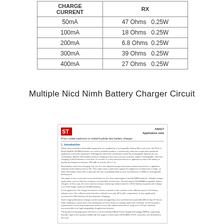| CHARGE CURRENT | RX |
| --- | --- |
| 50mA | 47 Ohms   0.25W |
| 100mA | 18 Ohms   0.25W |
| 200mA | 6.8 Ohms  0.25W |
| 300mA | 39 Ohms   0.25W |
| 400mA | 27 Ohms   0.25W |
Multiple Nicd Nimh Battery Charger Circuit
[Figure (screenshot): Thumbnail of ST AN417 Application Note document titled 'From nickel-cadmium to nickel-hydride fast battery charger', showing introduction section with body text about rechargeable batteries and fast charging methods.]